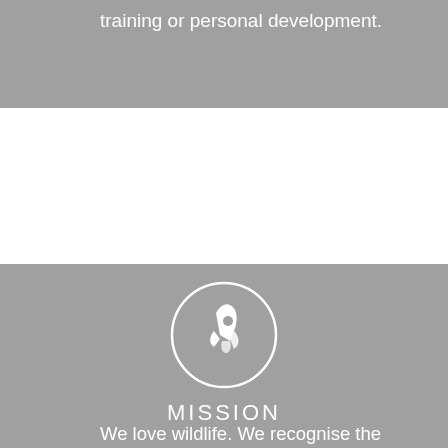training or personal development.
[Figure (illustration): White rocket ship icon inside a white circle outline on a grey background]
MISSION
We love wildlife. We recognise the importance of having qualified men and women protecting the